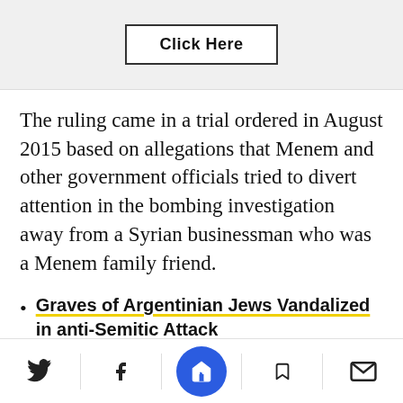[Figure (screenshot): Click Here button inside a light gray banner area at the top of a webpage.]
The ruling came in a trial ordered in August 2015 based on allegations that Menem and other government officials tried to divert attention in the bombing investigation away from a Syrian businessman who was a Menem family friend.
Graves of Argentinian Jews Vandalized in anti-Semitic Attack
From Martial Arts Champ to ‘Love Hormone’ ...
[Figure (screenshot): Bottom navigation bar with Twitter, Facebook, a blue circular Newsweek share button, bookmark, and mail icons.]